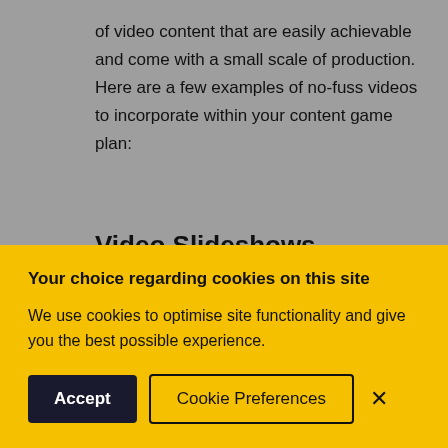of video content that are easily achievable and come with a small scale of production. Here are a few examples of no-fuss videos to incorporate within your content game plan:
Video Slideshows
[Figure (screenshot): Video thumbnail showing a circular logo/avatar icon on a dark brown background with text: 'How women's tennis outfits' and three dots menu icon]
Your choice regarding cookies on this site
We use cookies to optimise site functionality and give you the best possible experience.